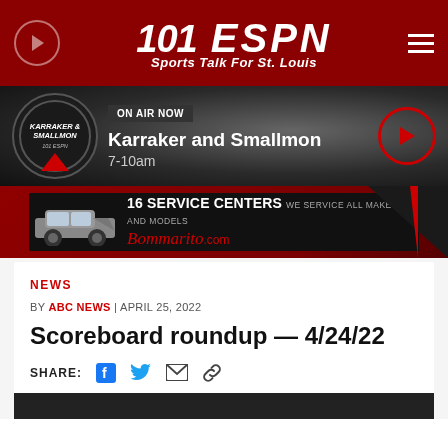101 ESPN Sports Talk For St. Louis
ON AIR NOW
Karraker and Smallmon
7-10am
[Figure (illustration): Bommarito.com advertisement: 16 Service Centers - We service all makes and models, showing a silver SUV]
NEWS
BY ABC NEWS | APRIL 25, 2022
Scoreboard roundup — 4/24/22
SHARE: